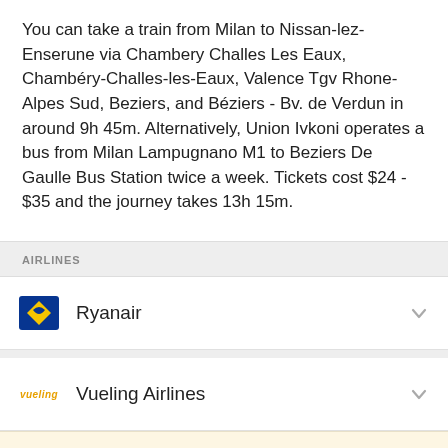You can take a train from Milan to Nissan-lez-Enserune via Chambery Challes Les Eaux, Chambéry-Challes-les-Eaux, Valence Tgv Rhone-Alpes Sud, Beziers, and Béziers - Bv. de Verdun in around 9h 45m. Alternatively, Union Ivkoni operates a bus from Milan Lampugnano M1 to Beziers De Gaulle Bus Station twice a week. Tickets cost $24 - $35 and the journey takes 13h 15m.
AIRLINES
Ryanair
Vueling Airlines
Rome2rio uses cookies to help personalize content and show you personalised ads. By proceeding, you accept the use of cookies in accordance with our privacy policy. You may opt out of personalised ads at any time.